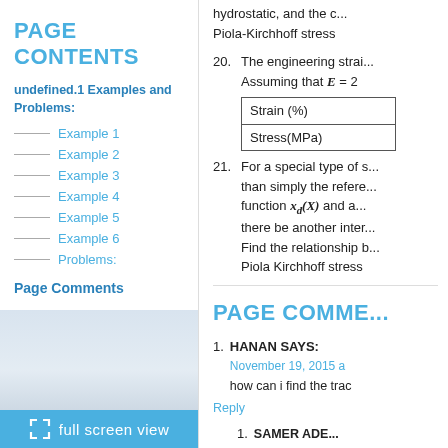PAGE CONTENTS
undefined.1 Examples and Problems:
Example 1
Example 2
Example 3
Example 4
Example 5
Example 6
Problems:
Page Comments
full screen view
hydrostatic, and the c... Piola-Kirchhoff stress
20. The engineering strai... Assuming that E = 2
| Strain (%) |  |
| --- | --- |
| Stress(MPa) |  |
21. For a special type of s... than simply the refere... function x_d(X) and a... there be another inter... Find the relationship b... Piola Kirchhoff stress
PAGE COMME...
HANAN SAYS: November 19, 2015 a how can i find the trac
Reply
SAMER ADE... November 19 2...